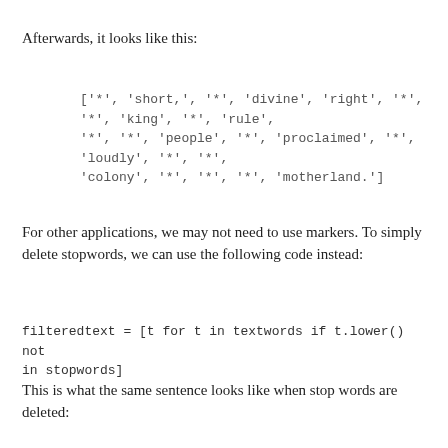Afterwards, it looks like this:
['*', 'short,', '*', 'divine', 'right', '*', '*', 'king', '*', 'rule', '*', '*', 'people', '*', 'proclaimed', '*', 'loudly', '*', '*', 'colony', '*', '*', '*', 'motherland.']
For other applications, we may not need to use markers. To simply delete stopwords, we can use the following code instead:
This is what the same sentence looks like when stop words are deleted: